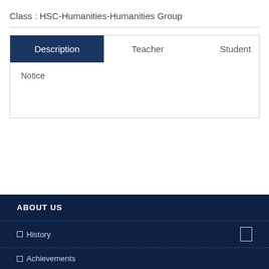Class : HSC-Humanities-Humanities Group
Description | Teacher | Student
Notice
ABOUT US
History
Achievements